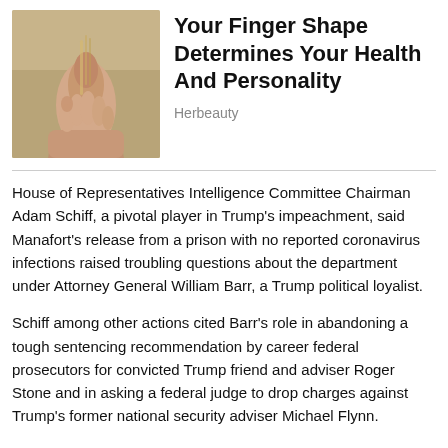[Figure (photo): Close-up photo of a hand holding a thin strand or thread, against a beige/tan background]
Your Finger Shape Determines Your Health And Personality
Herbeauty
House of Representatives Intelligence Committee Chairman Adam Schiff, a pivotal player in Trump's impeachment, said Manafort's release from a prison with no reported coronavirus infections raised troubling questions about the department under Attorney General William Barr, a Trump political loyalist.
Schiff among other actions cited Barr's role in abandoning a tough sentencing recommendation by career federal prosecutors for convicted Trump friend and adviser Roger Stone and in asking a federal judge to drop charges against Trump's former national security adviser Michael Flynn.
“People have lost confidence in its neutrality that justice is blind.